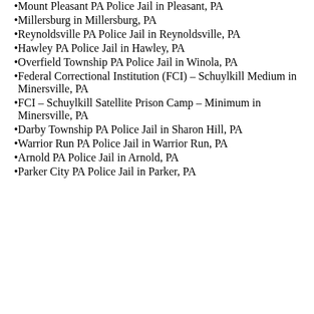Mount Pleasant PA Police Jail in Pleasant, PA
Millersburg in Millersburg, PA
Reynoldsville PA Police Jail in Reynoldsville, PA
Hawley PA Police Jail in Hawley, PA
Overfield Township PA Police Jail in Winola, PA
Federal Correctional Institution (FCI) – Schuylkill Medium in Minersville, PA
FCI – Schuylkill Satellite Prison Camp – Minimum in Minersville, PA
Darby Township PA Police Jail in Sharon Hill, PA
Warrior Run PA Police Jail in Warrior Run, PA
Arnold PA Police Jail in Arnold, PA
Parker City PA Police Jail in Parker, PA